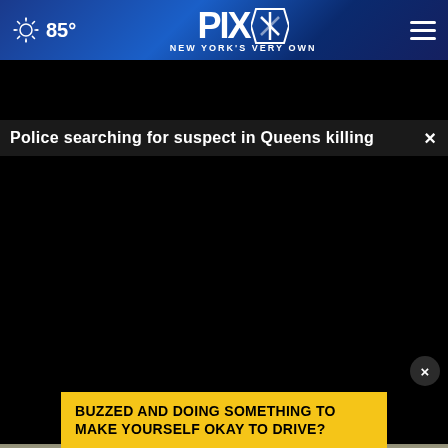85° PIX11 NEW YORK'S VERY OWN
Police searching for suspect in Queens killing
[Figure (screenshot): Black video player area, likely a video that is not loaded or playing]
[Figure (photo): Bottom portion of image showing green mint or herb leaves with an advertisement overlay. Ad reads: BUZZED AND DOING SOMETHING TO MAKE YOURSELF OKAY TO DRIVE?]